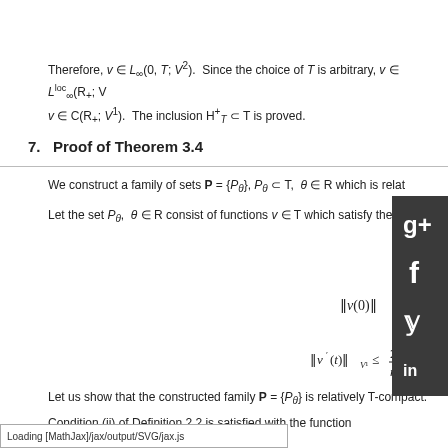Therefore, v ∈ L∞(0, T; V²). Since the choice of T is arbitrary, v ∈ L∞loc(R+; V²), v ∈ C(R+; V¹). The inclusion H+T ⊂ T is proved.
7.   Proof of Theorem 3.4
We construct a family of sets P = {Pθ}, Pθ ⊂ T, θ ∈ R which is relat...
Let the set Pθ, θ ∈ R consist of functions v ∈ T which satisfy the ine...
Let us show that the constructed family P = {Pθ} is relatively T-compact.
Condition (ii) of Definition 2.2 is satisfied with the function
Loading [MathJax]/jax/output/SVG/jax.js